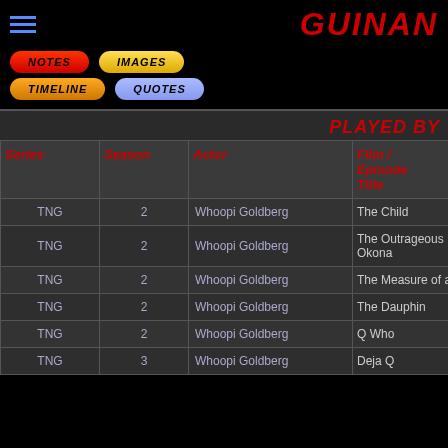GUINAN
[Figure (other): Navigation buttons: NOTES, IMAGES, TIMELINE, QUOTES]
PLAYED BY
| Series | Season | Actor | Film / Episode Title |
| --- | --- | --- | --- |
| TNG | 2 | Whoopi Goldberg | The Child |
| TNG | 2 | Whoopi Goldberg | The Outrageous Okona |
| TNG | 2 | Whoopi Goldberg | The Measure of a Man |
| TNG | 2 | Whoopi Goldberg | The Dauphin |
| TNG | 2 | Whoopi Goldberg | Q Who |
| TNG | 3 | Whoopi Goldberg | Deja Q |